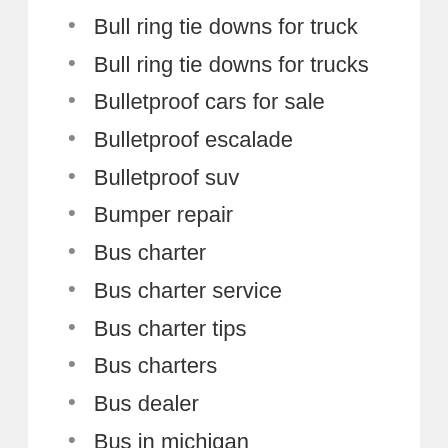Bull ring tie downs for truck
Bull ring tie downs for trucks
Bulletproof cars for sale
Bulletproof escalade
Bulletproof suv
Bumper repair
Bus charter
Bus charter service
Bus charter tips
Bus charters
Bus dealer
Bus in michigan